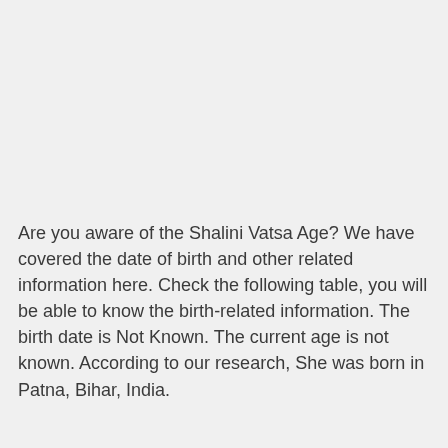Are you aware of the Shalini Vatsa Age? We have covered the date of birth and other related information here. Check the following table, you will be able to know the birth-related information. The birth date is Not Known. The current age is not known. According to our research, She was born in Patna, Bihar, India.